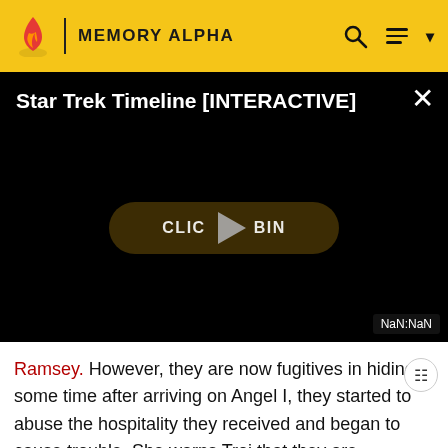MEMORY ALPHA
[Figure (screenshot): Video player showing 'Star Trek Timeline [INTERACTIVE]' with a play button pill overlay reading 'CLICK TO BEGIN' and NaN:NaN timestamp displayed on black background]
Ramsey. However, they are now fugitives in hiding: some time after arriving on Angel I, they started to abuse the hospitality they received and began to cause trouble. She warns Troi that they are dangerous.
Act Two